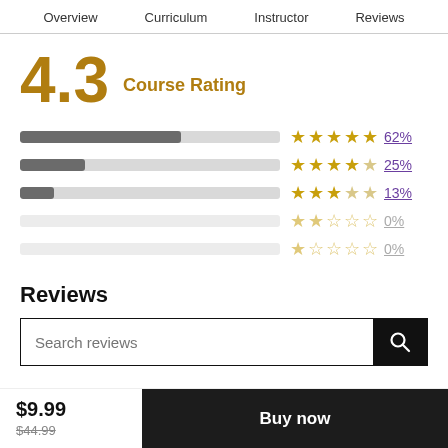Overview   Curriculum   Instructor   Reviews
[Figure (infographic): Course rating 4.3 with star bar chart showing 62% five stars, 25% four stars, 13% three stars, 0% two stars, 0% one star]
Reviews
[Figure (screenshot): Search reviews input bar with search button]
$9.99  $44.99  Buy now